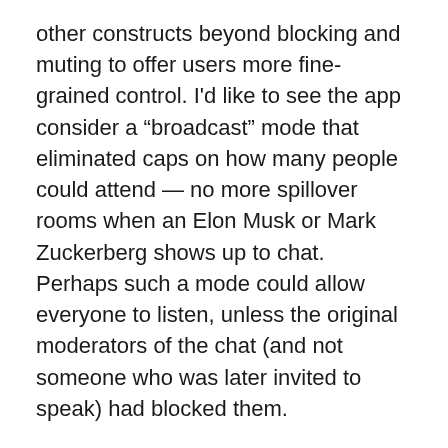other constructs beyond blocking and muting to offer users more fine-grained control. I'd like to see the app consider a “broadcast” mode that eliminated caps on how many people could attend — no more spillover rooms when an Elon Musk or Mark Zuckerberg shows up to chat. Perhaps such a mode could allow everyone to listen, unless the original moderators of the chat (and not someone who was later invited to speak) had blocked them.
When any new social network becomes popular, reporters will scrutinize how powerful people are using it. That scrutiny is necessary and good. But privacy is necessary and good, too. Blocking is a blunt tool to achieve that end, but it can be refined over time — complemented with tools that achieve similar ends with more inclusive means.